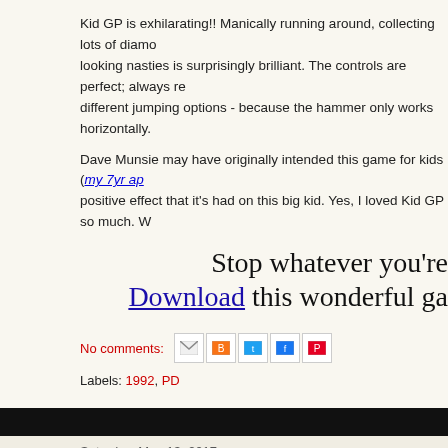Kid GP is exhilarating!! Manically running around, collecting lots of diamo... looking nasties is surprisingly brilliant. The controls are perfect; always re... different jumping options - because the hammer only works horizontally.
Dave Munsie may have originally intended this game for kids (my 7yr ap... positive effect that it's had on this big kid. Yes, I loved Kid GP so much. W...
Stop whatever you're
Download this wonderful ga...
No comments:
Labels: 1992, PD
Saturday, May 13, 2017
EasyAraMiNT
[Figure (screenshot): Video thumbnail with Atari Crypt logo and text 'my old Mac Mini gets a reason to live!']